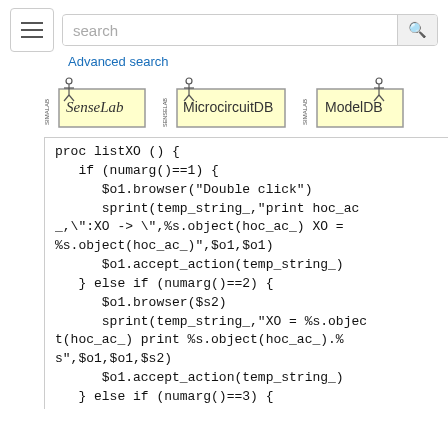search [search button] Advanced search
[Figure (screenshot): Three logos: SenseLab, MicrocircuitDB, ModelDB]
proc listXO () {
   if (numarg()==1) {
      $o1.browser("Double click")
      sprint(temp_string_,"print hoc_ac_,\":XO -> \",%s.object(hoc_ac_) XO = %s.object(hoc_ac_)",$o1,$o1)
      $o1.accept_action(temp_string_)
   } else if (numarg()==2) {
      $o1.browser($s2)
      sprint(temp_string_,"XO = %s.object(hoc_ac_) print %s.object(hoc_ac_).%s",$o1,$o1,$s2)
      $o1.accept_action(temp_string_)
   } else if (numarg()==3) {
      $o1.browser($s2)
      sprint(temp_string_,"XO = %s.object(hoc_ac_) print %s.object(hoc_ac_).%s,%s.object(hoc_ac_).%s",$o1,$o1,$s2,$o1,$s3)
      $o1.accept_action(temp_string_)